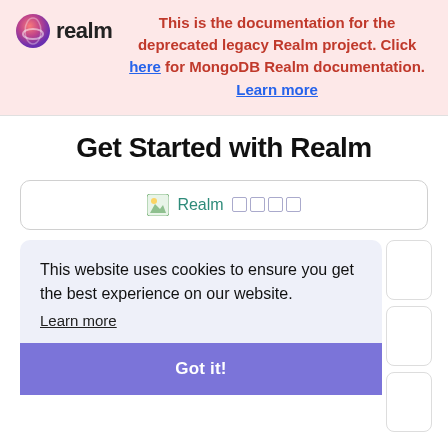realm — This is the documentation for the deprecated legacy Realm project. Click here for MongoDB Realm documentation. Learn more
Get Started with Realm
[Figure (other): Navigation card with Realm logo icon and text 'Realm' followed by box/tab icons]
This website uses cookies to ensure you get the best experience on our website.
Learn more
Got it!